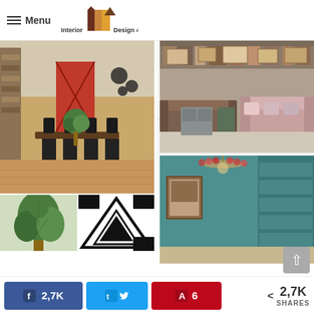Menu | Interior Design 4 | better living, better Designing
[Figure (photo): White accordion-inspired office furniture set with table and chairs on white background]
Accordion-Inspired Office Furniture
[Figure (photo): Interior room with dining table, black chairs, red barn door and exposed brick]
[Figure (photo): Warehouse or thrift store with assorted furniture including sofas and shelving]
[Figure (photo): Small plant on white background - partial image]
[Figure (photo): Black and white triangle/arrow graphic]
[Figure (photo): Teal blue room with chandelier and built-in shelving]
2,7K  (share)  (tweet)  6  (pin)  < 2,7K SHARES